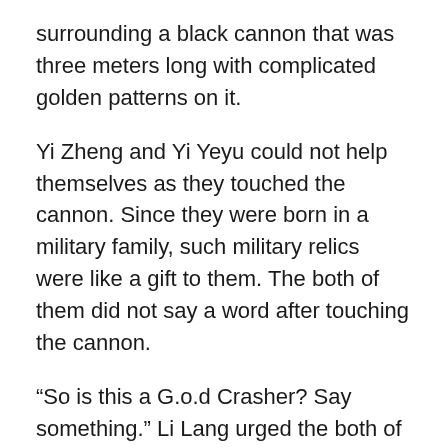surrounding a black cannon that was three meters long with complicated golden patterns on it.
Yi Zheng and Yi Yeyu could not help themselves as they touched the cannon. Since they were born in a military family, such military relics were like a gift to them. The both of them did not say a word after touching the cannon.
“So is this a G.o.d Crasher? Say something.” Li Lang urged the both of them.
“Why do you need to ask that? Can’t you tell this is obviously a G.o.d Crasher?” Yi Yeyu glared at him.